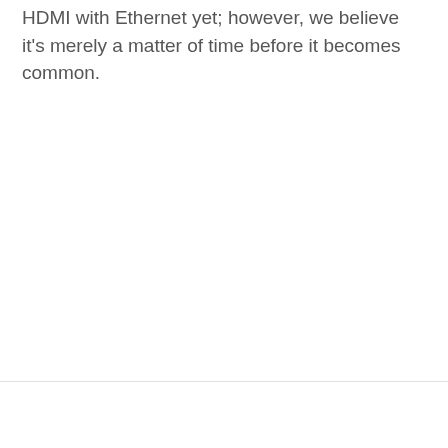HDMI with Ethernet yet; however, we believe it's merely a matter of time before it becomes common.